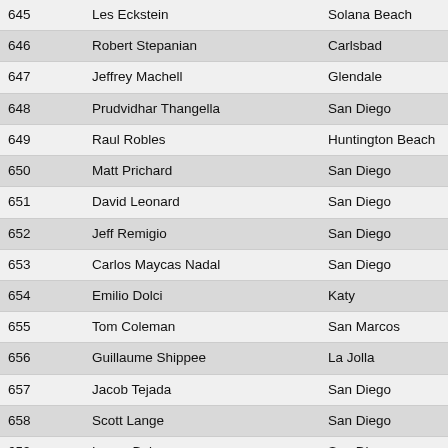| # | Name | City |
| --- | --- | --- |
| 645 | Les Eckstein | Solana Beach |
| 646 | Robert Stepanian | Carlsbad |
| 647 | Jeffrey Machell | Glendale |
| 648 | Prudvidhar Thangella | San Diego |
| 649 | Raul Robles | Huntington Beach |
| 650 | Matt Prichard | San Diego |
| 651 | David Leonard | San Diego |
| 652 | Jeff Remigio | San Diego |
| 653 | Carlos Maycas Nadal | San Diego |
| 654 | Emilio Dolci | Katy |
| 655 | Tom Coleman | San Marcos |
| 656 | Guillaume Shippee | La Jolla |
| 657 | Jacob Tejada | San Diego |
| 658 | Scott Lange | San Diego |
| 659 | Lance Bolano | San Diego |
| 660 | Gerardo Morales | Riverside |